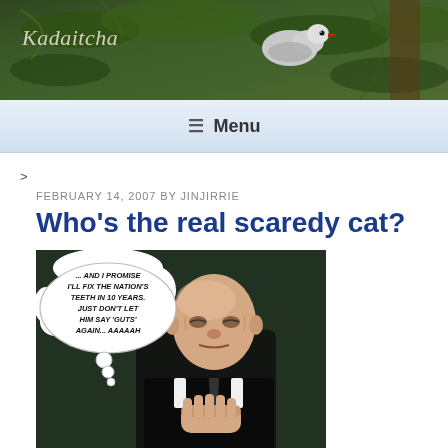[Figure (photo): Blog header banner showing a bird (likely a pigeon/dove) in green foliage with the blog title 'Kadaitcha' in italic serif text overlaid on the left side.]
≡ Menu
>
FEBRUARY 14, 2007 BY JINJIRRIE
Who's the real scaredy cat?
[Figure (illustration): Comic-style photo of an elderly bald man in a dark suit with hands pressed together in prayer pose, with a thought/speech bubble reading: '... AND I PROMISE I'LL FIX THE NATION'S TEETH IN 10 YEARS. JUST DON'T LET HIM SAY 'GUTS' AGAIN... AAAAAH']